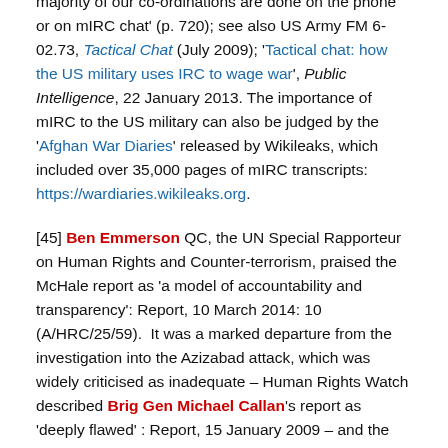majority of our co-ordinations are done on the phone or on mIRC chat' (p. 720); see also US Army FM 6-02.73, Tactical Chat (July 2009); 'Tactical chat: how the US military uses IRC to wage war', Public Intelligence, 22 January 2013. The importance of mIRC to the US military can also be judged by the 'Afghan War Diaries' released by Wikileaks, which included over 35,000 pages of mIRC transcripts: https://wardiaries.wikileaks.org.
[45] Ben Emmerson QC, the UN Special Rapporteur on Human Rights and Counter-terrorism, praised the McHale report as 'a model of accountability and transparency': Report, 10 March 2014: 10 (A/HRC/25/59). It was a marked departure from the investigation into the Azizabad attack, which was widely criticised as inadequate – Human Rights Watch described Brig Gen Michael Callan's report as 'deeply flawed' : Report, 15 January 2009 – and the release of the consolidated file a complete contrast to the investigation into the Kunduz attack, where the details remained classified – despite promises to the contrary – and ISAF even refused to cooperate with the Bundestag's official investigation into the incident.